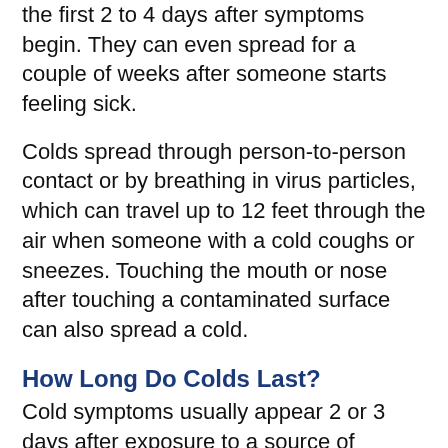the first 2 to 4 days after symptoms begin. They can even spread for a couple of weeks after someone starts feeling sick.
Colds spread through person-to-person contact or by breathing in virus particles, which can travel up to 12 feet through the air when someone with a cold coughs or sneezes. Touching the mouth or nose after touching a contaminated surface can also spread a cold.
How Long Do Colds Last?
Cold symptoms usually appear 2 or 3 days after exposure to a source of infection. Most colds clear up within 1 week, but some last a bit longer.
How Are Colds Diagnosed?
Your doctor won't be able to find which virus caused the illness, but can check your child's throat and ears